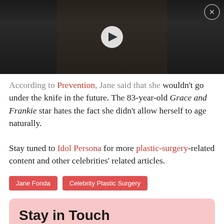[Figure (photo): Video thumbnail showing a man in a black suit on a red carpet (Oscars backdrop), with a white play button overlay and a close (X) button in the top-right corner.]
According to Prevention, Jane said that she wouldn't go under the knife in the future. The 83-year-old Grace and Frankie star hates the fact she didn't allow herself to age naturally.
Stay tuned to Idol Persona for more plastic-surgery-related content and other celebrities' related articles.
Jane Fonda
Celebrity Plastic Surgery
Stay in Touch
Don't miss out on with us. Subscribe for